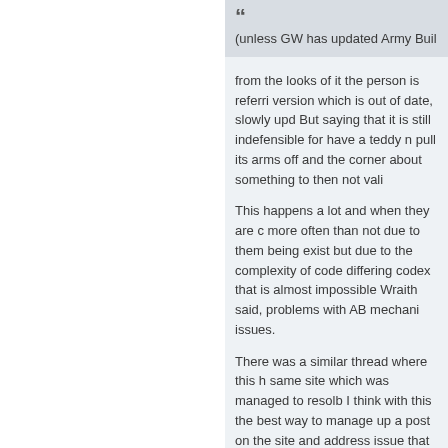“(unless GW has updated Army Buil
from the looks of it the person is referring to a version which is out of date, slowly upd But saying that it is still indefensible for have a teddy n pull its arms off and the corner about something to then not vali
This happens a lot and when they are c more often than not due to them being exist but due to the complexity of code differing codex that is almost impossible Wraith said, problems with AB mechani issues.
There was a similar thread where this h same site which was managed to resolb I think with this the best way to manage up a post on the site and address issue that way the declaimers can be either p and misinterpretations can be resolved a useful way of adding to our own FAQ